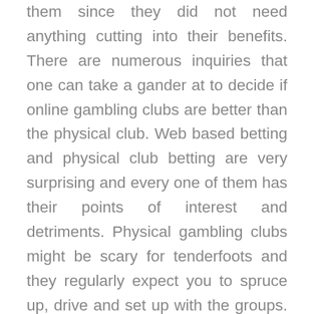them since they did not need anything cutting into their benefits. There are numerous inquiries that one can take a gander at to decide if online gambling clubs are better than the physical club. Web based betting and physical club betting are very surprising and every one of them has their points of interest and detriments. Physical gambling clubs might be scary for tenderfoots and they regularly expect you to spruce up, drive and set up with the groups. Then again, the primary bit of leeway of playing on the web is the comfort. Both beginner and expert players can bet from the solace of their own home.